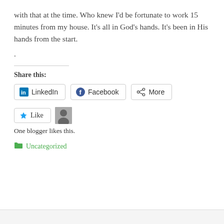with that at the time. Who knew I'd be fortunate to work 15 minutes from my house. It's all in God's hands. It's been in His hands from the start.
.
Share this:
LinkedIn  Facebook  More
Like  One blogger likes this.
Uncategorized